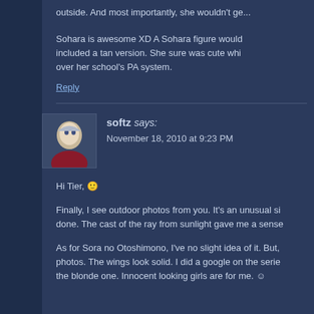outside. And most importantly, she wouldn't ge...
Sohara is awesome XD A Sohara figure would... included a tan version. She sure was cute whi... over her school's PA system.
Reply
softz says: November 18, 2010 at 9:23 PM
Hi Tier, 🙂
Finally, I see outdoor photos from you. It's an unusual si... done. The cast of the ray from sunlight gave me a sense...
As for Sora no Otoshimono, I've no slight idea of it. But,... photos. The wings look solid. I did a google on the serie... the blonde one. Innocent looking girls are for me. ☺